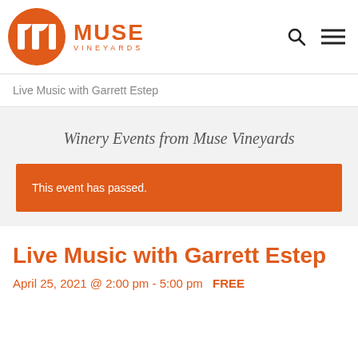[Figure (logo): Muse Vineyards logo: orange circle with stylized white 'm' icon, followed by 'MUSE' in bold orange and 'VINEYARDS' in small caps orange text]
Live Music with Garrett Estep
Winery Events from Muse Vineyards
This event has passed.
Live Music with Garrett Estep
April 25, 2021 @ 2:00 pm - 5:00 pm  FREE